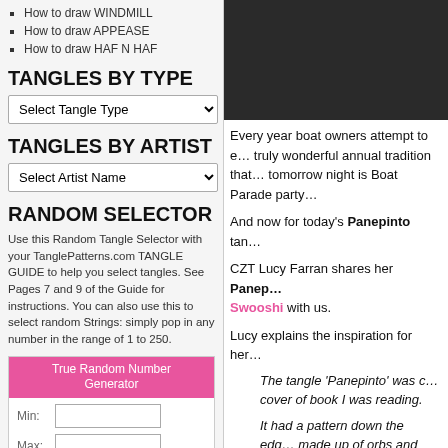How to draw WINDMILL
How to draw APPEASE
How to draw HAF N HAF
TANGLES BY TYPE
TANGLES BY ARTIST
RANDOM SELECTOR
Use this Random Tangle Selector with your TanglePatterns.com TANGLE GUIDE to help you select tangles. See Pages 7 and 9 of the Guide for instructions. You can also use this to select random Strings: simply pop in any number in the range of 1 to 250.
[Figure (screenshot): True Random Number Generator widget with Min, Max fields and Generate button]
[Figure (photo): Dark image on right column top]
Every year boat owners attempt to c… truly wonderful annual tradition that… tomorrow night is Boat Parade party…
And now for today's Panepinto tangle…
CZT Lucy Farran shares her Panep… Swooshi with us.
Lucy explains the inspiration for her…
The tangle 'Panepinto' was c… cover of book I was reading.
It had a pattern down the edg… made up of orbs and flux (Ri…
The final tangle doesn't look a… the detail, but it definitely ser…
The name 'Panepinto' comes…